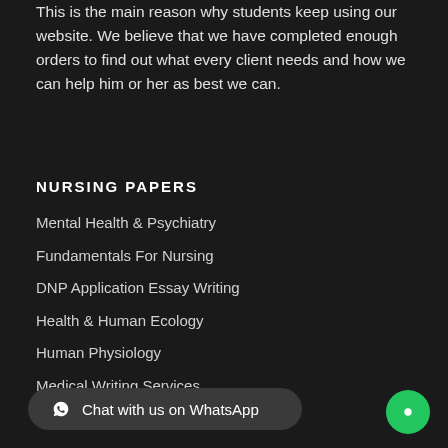This is the main reason why students keep using our website. We believe that we have completed enough orders to find out what every client needs and how we can help him or her as best we can.
NURSING PAPERS
Mental Health & Psychiatry
Fundamentals For Nursing
DNP Application Essay Writing
Health & Human Ecology
Human Physiology
Medical Writing Services